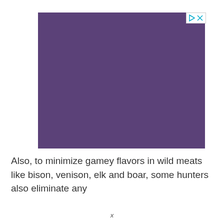[Figure (other): Purple/violet colored advertisement block with play and close control buttons in the top-right corner]
Also, to minimize gamey flavors in wild meats like bison, venison, elk and boar, some hunters also eliminate any
(partially visible/faded continuation line)